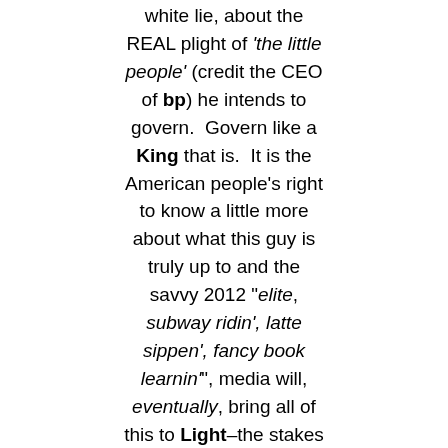white lie, about the REAL plight of 'the little people' (credit the CEO of bp) he intends to govern.  Govern like a King that is.  It is the American people's right to know a little more about what this guy is truly up to and the savvy 2012 "elite, subway ridin', latte sippen', fancy book learnin'", media will, eventually, bring all of this to Light–the stakes are just too high for responsible journalists,